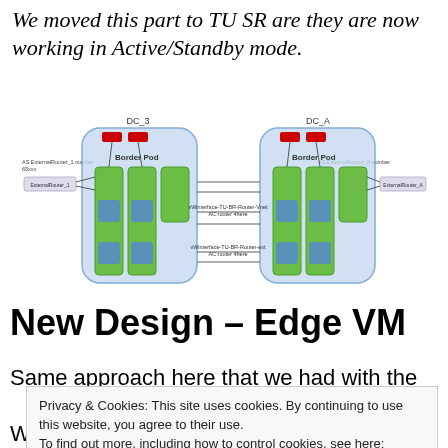We moved this part to TU SR are they are now working in Active/Standby mode.
[Figure (network-graph): Network topology diagram showing two data centers (DC_3 and DC_A) each with Border Pod containing routers and networking equipment connected in Active/Standby configuration. AS ExternalRouter nodes on each side connected via horizontal links.]
New Design – Edge VM
Same approach here that we had with the
Privacy & Cookies: This site uses cookies. By continuing to use this website, you agree to their use.
To find out more, including how to control cookies, see here:
Cookie Policy
Close and accept
We can then have multiple Edge VMs in the